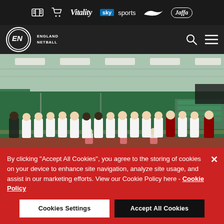Sponsor bar with icons: ticket, cart, Vitality, sky sports, Nike (swoosh), Jaffa
England Netball navigation bar with search and menu icons
[Figure (photo): Group photo of male netball players in white/red uniforms standing in a row inside a green indoor sports hall]
By clicking "Accept All Cookies", you agree to the storing of cookies on your device to enhance site navigation, analyze site usage, and assist in our marketing efforts. View our Cookie Policy here - Cookie Policy
Cookies Settings
Accept All Cookies